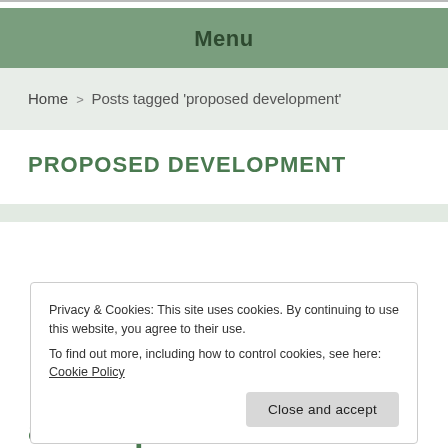Menu
Home > Posts tagged 'proposed development'
PROPOSED DEVELOPMENT
Privacy & Cookies: This site uses cookies. By continuing to use this website, you agree to their use.
To find out more, including how to control cookies, see here: Cookie Policy
Close and accept
and liquor store